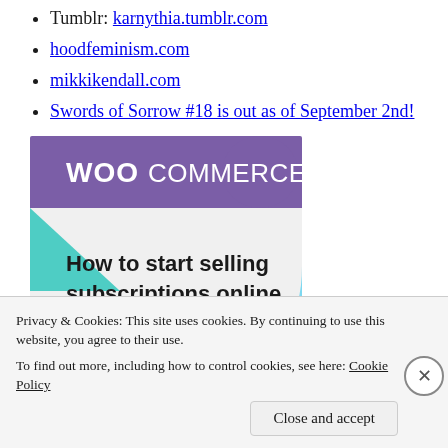Tumblr: karnythia.tumblr.com
hoodfeminism.com
mikkikendall.com
Swords of Sorrow #18 is out as of September 2nd!
[Figure (screenshot): WooCommerce promotional image with purple and teal geometric shapes and text 'How to start selling subscriptions online']
Privacy & Cookies: This site uses cookies. By continuing to use this website, you agree to their use.
To find out more, including how to control cookies, see here: Cookie Policy
Close and accept